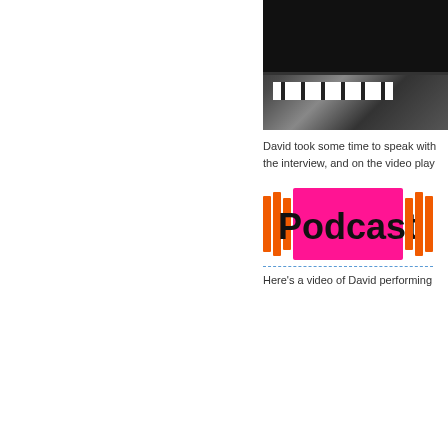[Figure (photo): Black and white photo of a person (David) at a piano keyboard]
David took some time to speak with the interview, and on the video play
[Figure (logo): Podcast logo — orange flanking bars with pink/magenta center rectangle and bold black 'Podcast' text]
Here's a video of David performing